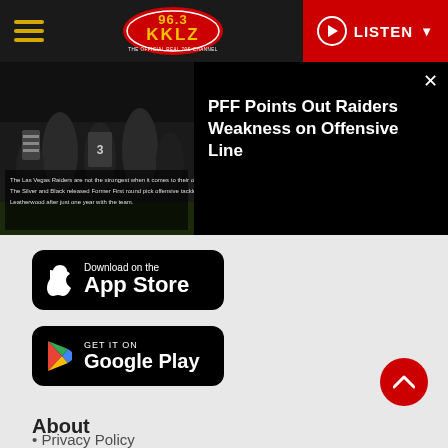[Figure (logo): 96.3 KKLZ radio station logo with hamburger menu and LISTEN button in header]
[Figure (photo): Football game photo showing Raiders players on offensive line with overlaid text about PFF Points Out Raiders Weakness on Offensive Line]
PFF Points Out Raiders Weakness on Offensive Line
[Figure (screenshot): Download on the App Store button (black rounded rectangle)]
[Figure (screenshot): GET IT ON Google Play button (black rounded rectangle)]
About